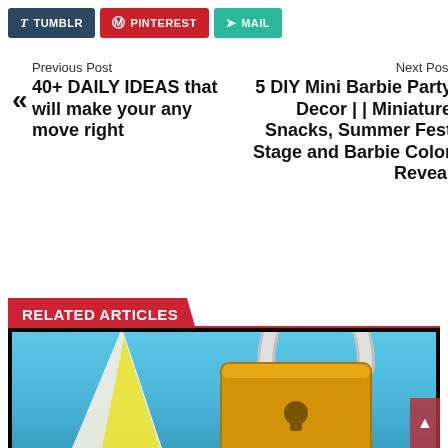TUMBLR | PINTEREST | MAIL
Previous Post
40+ DAILY IDEAS that will make your any move right
Next Post
5 DIY Mini Barbie Party Decor | | Miniature Snacks, Summer Fest Stage and Barbie Color Reveal
RELATED ARTICLES
[Figure (photo): Photo of a golden padlock on a light blue background with a yellow triangular shape on the left side]